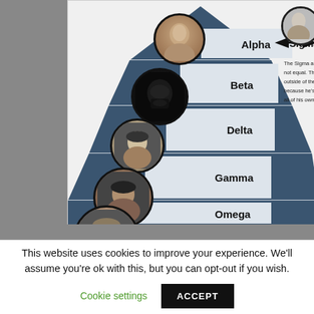[Figure (infographic): A social hierarchy pyramid infographic showing levels: Alpha (top), Beta, Delta, Gamma, Omega (bottom). Each level has a circular portrait photo on the left side. An arrow points right to 'Sigma' with partial text explaining the Sigma archetype. Partially cropped screenshot of a webpage.]
This website uses cookies to improve your experience. We'll assume you're ok with this, but you can opt-out if you wish.
Cookie settings   ACCEPT